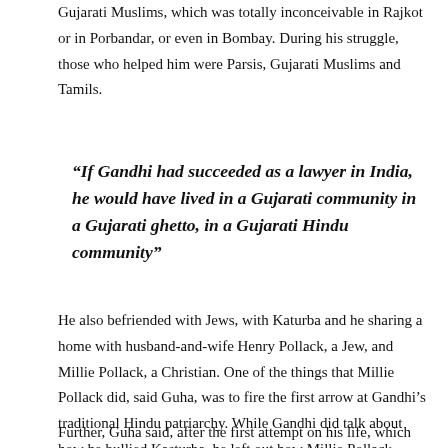Gujarati Muslims, which was totally inconceivable in Rajkot or in Porbandar, or even in Bombay. During his struggle, those who helped him were Parsis, Gujarati Muslims and Tamils.
“If Gandhi had succeeded as a lawyer in India, he would have lived in a Gujarati community in a Gujarati ghetto, in a Gujarati Hindu community”
He also befriended with Jews, with Katurba and he sharing a home with husband-and-wife Henry Pollack, a Jew, and Millie Pollack, a Christian. One of the things that Millie Pollack did, said Guha, was to fire the first arrow at Gandhi’s traditional Hindu patriarchy. While Gandhi did talk about how he bullied Kasturba, he left out how Millie Pollack expanded his mind. Her book, “Gandhi the Man” shows that she was the first person who told Gandhi that women too had rights.
Further, Guha said, after the first attempt on his life, which was